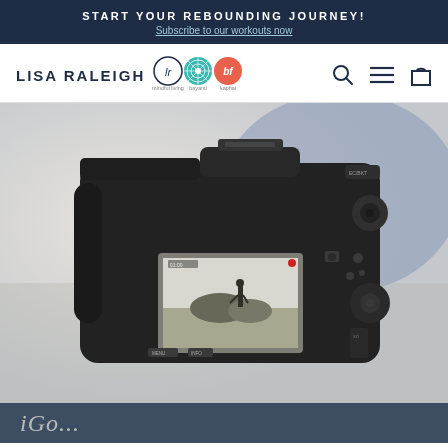START YOUR REBOUNDING JOURNEY!
Subscribe to our workouts now
[Figure (logo): Lisa Raleigh logo with text and three brand icons: circular LR monogram, teal mandala pattern (bayanti), and coral/orange abstract logo (kaphai). Taglines: mindful living, bayanti, kaphai]
[Figure (photo): Close-up rear view of a black DSLR camera showing the back LCD screen. The LCD screen displays a black and white image of a person standing in an outdoor landscape. Background is blurred light gray and blue. Camera controls visible including menu, info buttons and various dials.]
iGo...